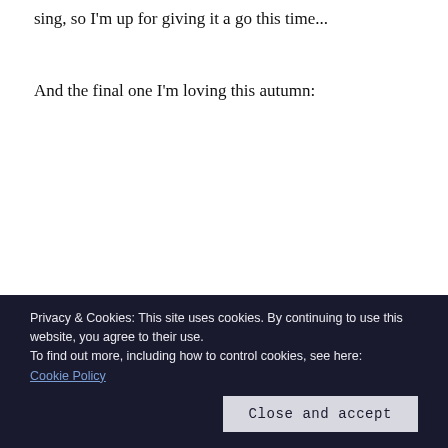sing, so I'm up for giving it a go this time...
And the final one I'm loving this autumn:
Privacy & Cookies: This site uses cookies. By continuing to use this website, you agree to their use.
To find out more, including how to control cookies, see here:
Cookie Policy
Close and accept